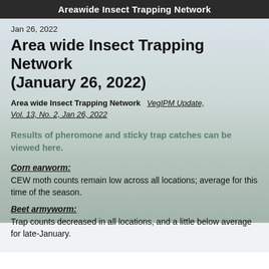Areawide Insect Trapping Network
Jan 26, 2022
Area wide Insect Trapping Network (January 26, 2022)
Area wide Insect Trapping Network   VegIPM Update, Vol. 13, No. 2, Jan 26, 2022
Results of pheromone and sticky trap catches can be viewed here.
Corn earworm:
CEW moth counts remain low across all locations; average for this time of the season.
Beet armyworm:
Trap counts decreased in all locations, and a little below average for late-January.